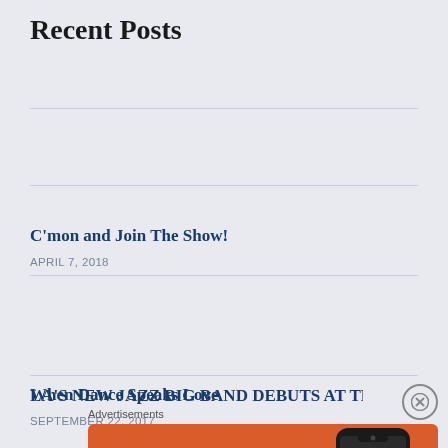Recent Posts
C’mon and Join The Show!
APRIL 7, 2018
When Dance Speaks Love
SEPTEMBER 22, 2017
LA’S NEW JAZZ BIG BAND DEBUTS AT THE BLUE WHALE
AUGUST 16, 2017
LA’S NEW JAZZ BIG BAND DEBUTS AT THE BLUE
[Figure (screenshot): DuckDuckGo advertisement banner with orange background showing text 'Search, browse, and email with more privacy. All in One Free App' with a smartphone image and DuckDuckGo logo/branding.]